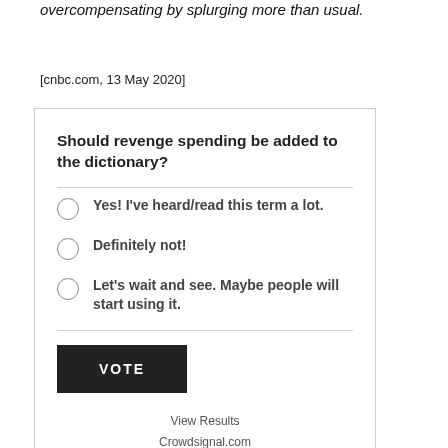overcompensating by splurging more than usual.
[cnbc.com, 13 May 2020]
[Figure (other): Poll widget asking 'Should revenge spending be added to the dictionary?' with three radio button options: 'Yes! I've heard/read this term a lot.', 'Definitely not!', 'Let's wait and see. Maybe people will start using it.' A VOTE button and links to View Results and Crowdsignal.com.]